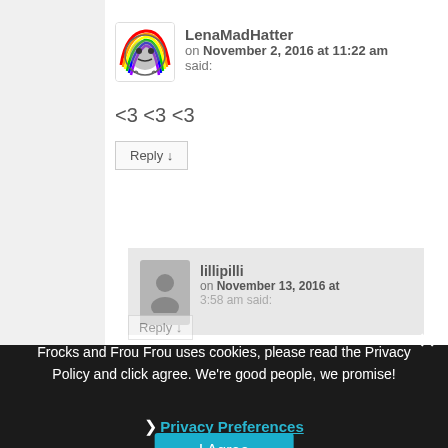LenaMadHatter on November 2, 2016 at 11:22 am said:
<3 <3 <3
Reply ↓
lillipilli on November 13, 2016 at 3:58 am said:
Frocks and Frou Frou uses cookies, please read the Privacy Policy and click agree. We're good people, we promise!
❯ Privacy Preferences
I Agree